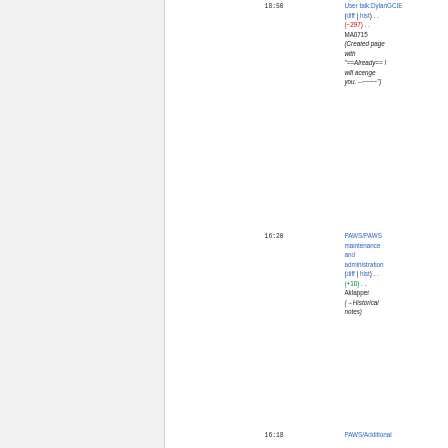18:50 User talk:DylanGCIE (diff | hist) . . (−297) . . MA0715 (Created page with "==Already== I will acenge you. --~~~~")
16:20 PAWS/PAWS maintenance and administration (diff | hist) . . (+10) . . Aklapper (→Historical notes)
16:18 PAWS/Additional